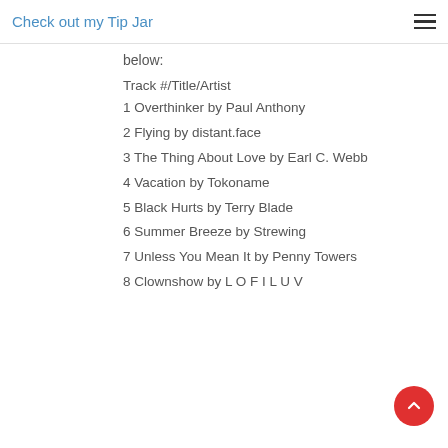Check out my Tip Jar
below:
Track #/Title/Artist
1 Overthinker by Paul Anthony
2 Flying by distant.face
3 The Thing About Love by Earl C. Webb
4 Vacation by Tokoname
5 Black Hurts by Terry Blade
6 Summer Breeze by Strewing
7 Unless You Mean It by Penny Towers
8 Clownshow by L O F I L U V